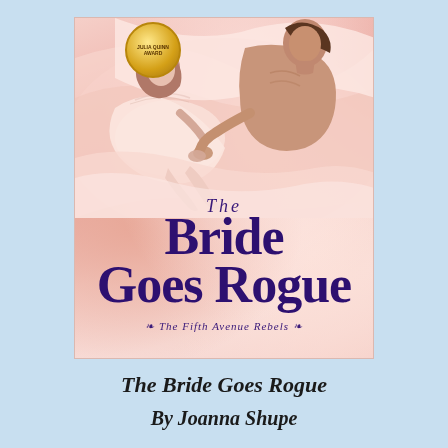[Figure (illustration): Book cover for 'The Bride Goes Rogue' by Joanna Shupe. Shows a romantic couple lying on satin sheets. A shirtless man and a woman in a light pink dress are entwined on pink/cream satin bedding. A gold medallion award seal appears in the top left corner. The title 'THE Bride Goes Rogue' appears in large purple/dark violet script lettering in the lower half of the cover, with 'The Fifth Avenue Rebels' as a series subtitle below.]
The Bride Goes Rogue
By Joanna Shupe